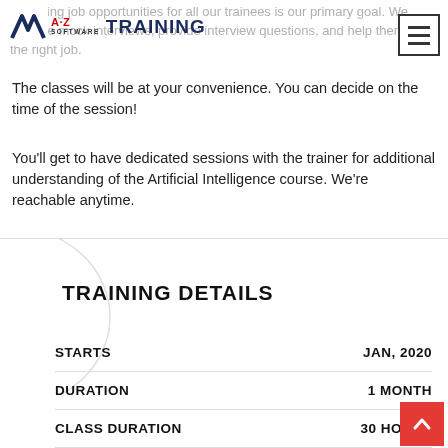A to Z Software Training
Providing job opportunities for all our trainees is our primary goal. We arrange mock interviews, provide interview questions, and help them find the right job.
The classes will be at your convenience. You can decide on the time of the session!
You'll get to have dedicated sessions with the trainer for additional understanding of the Artificial Intelligence course. We're reachable anytime.
TRAINING DETAILS
| Field | Value |
| --- | --- |
| STARTS | JAN, 2020 |
| DURATION | 1 MONTH |
| CLASS DURATION | 30 HOURS |
| SKILL LEVEL | ALL LEVEL |